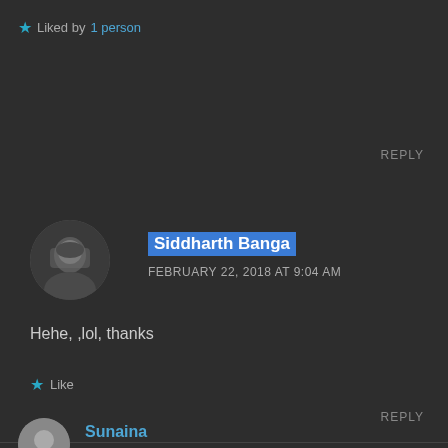★ Liked by 1 person
REPLY
Siddharth Banga
FEBRUARY 22, 2018 AT 9:04 AM
Hehe, ,lol, thanks
★ Like
REPLY
Sunaina